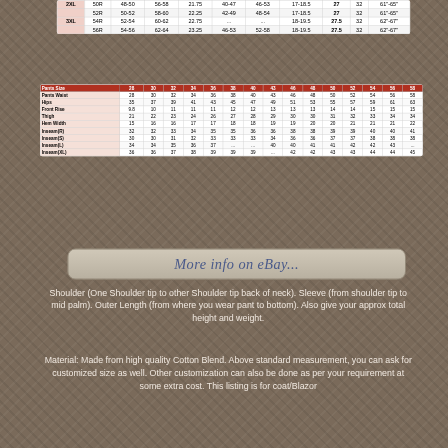|  | 50R | 52R | 54R | 56R |
| --- | --- | --- | --- | --- |
| 2XL | 48-50 | 56-58 | 21.75 | 40-47 | 46-53 | 17-18.5 | 27 | 32 | 61"-65" |
|  | 52R | 58-60 | 22.25 | 42-49 | 48-54 | 17-18.5 | 27 | 32 | 61"-65" |
| 3XL | 54R | 52-54 | 60-62 | 22.75 | ... | 18-19.5 | 27.5 | 32 | 62"-67" |
|  | 56R | 54-56 | 62-64 | 23.25 | 46-53 | 52-58 | 18-19.5 | 27.5 | 32 | 62"-67" |
| Pants Size | 28 | 30 | 32 | 34 | 36 | 38 | 40 | 43 | 46 | 48 | 50 | 52 | 54 | 56 | 58 |
| --- | --- | --- | --- | --- | --- | --- | --- | --- | --- | --- | --- | --- | --- | --- | --- |
| Pants Waist | 28 | 30 | 32 | 34 | 36 | 38 | 40 | 43 | 46 | 48 | 50 | 52 | 54 | 56 | 58 |
| Hips | 35 | 37 | 39 | 41 | 43 | 45 | 47 | 49 | 51 | 53 | 55 | 57 | 59 | 61 | 63 |
| Front Rise | 9.8 | 10 | 11 | 11 | 11 | 12 | 12 | 13 | 13 | 13 | 14 | 14 | 15 | 15 | 15 |
| Thigh | 21 | 22 | 23 | 24 | 26 | 27 | 28 | 29 | 30 | 30 | 31 | 32 | 33 | 34 | 34 |
| Hem Width | 15 | 16 | 16 | 17 | 17 | 18 | 18 | 19 | 19 | 20 | 20 | 21 | 21 | 21 | 22 |
| Inseam(R) | 32 | 32 | 33 | 34 | 35 | 35 | 36 | 36 | 38 | 38 | 39 | 39 | 40 | 40 | 41 |
| Inseam(S) | 30 | 30 | 31 | 32 | 33 | 33 | 33 | 34 | 36 | 36 | 37 | 37 | 38 | 38 | 38 |
| Inseam(L) | 34 | 34 | 35 | 36 | 37 | ... | ... | 40 | 40 | 41 | 41 | 42 | 42 | 43 |
| Inseam(XL) | 36 | 36 | 37 | 38 | 39 | 39 | 39 | ... | 42 | 42 | 43 | 43 | 44 | 44 | 45 |
[Figure (other): eBay 'More info on eBay...' button/banner]
Shoulder (One Shoulder tip to other Shoulder tip back of neck). Sleeve (from shoulder tip to mid palm). Outer Length (from where you wear pant to bottom). Also give your approx total height and weight.
Material: Made from high quality Cotton Blend. Above standard measurement, you can ask for customized size as well. Other customization can also be done as per your requirement at some extra cost. This listing is for coat/Blazer